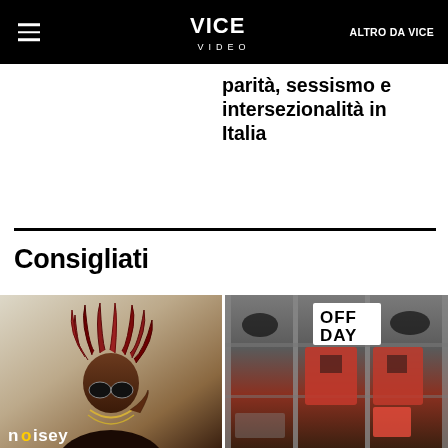VICE VIDEO — ALTRO DA VICE
parità, sessismo e intersezionalità in Italia
Consigliati
[Figure (photo): Rapper wearing sunglasses and jewelry with dreadlocks, Noisey branded photo]
[Figure (photo): Sports locker room with OFF DAY sign and red hockey jerseys hanging]